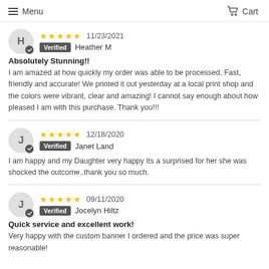Menu  Cart
★★★★★ 11/23/2021 Verified Heather M
Absolutely Stunning!! I am amazed at how quickly my order was able to be processed. Fast, friendly and accurate! We printed it out yesterday at a local print shop and the colors were vibrant, clear and amazing! I cannot say enough about how pleased I am with this purchase. Thank you!!!
★★★★★ 12/18/2020 Verified Janet Land
I am happy and my Daughter very happy Its a surprised for her she was shocked the outcome..thank you so much.
★★★★★ 09/11/2020 Verified Jocelyn Hiltz
Quick service and excellent work! Very happy with the custom banner I ordered and the price was super reasonable!